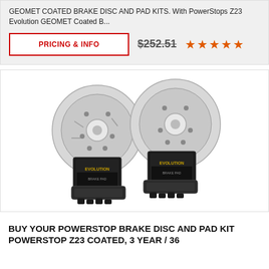GEOMET COATED BRAKE DISC AND PAD KITS. With PowerStops Z23 Evolution GEOMET Coated B...
PRICING & INFO
$252.51
[Figure (photo): Product photo showing four brake discs (rotors) and brake pad sets with Evolution branding packaging, arranged in a symmetrical display]
BUY YOUR POWERSTOP BRAKE DISC AND PAD KIT POWERSTOP Z23 COATED, 3 YEAR / 36